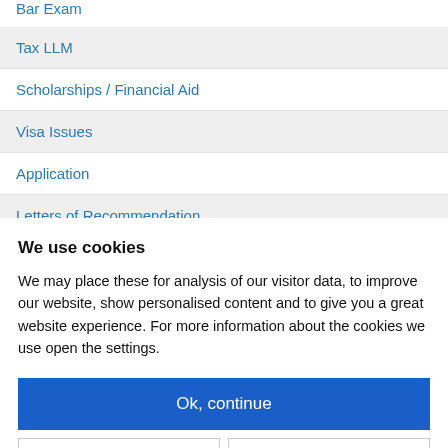Bar Exam
Tax LLM
Scholarships / Financial Aid
Visa Issues
Application
Letters of Recommendation
We use cookies
We may place these for analysis of our visitor data, to improve our website, show personalised content and to give you a great website experience. For more information about the cookies we use open the settings.
Ok, continue
Deny
No, adjust